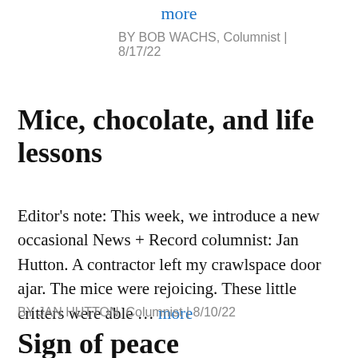more
BY BOB WACHS, Columnist | 8/17/22
Mice, chocolate, and life lessons
Editor's note: This week, we introduce a new occasional News + Record columnist: Jan Hutton. A contractor left my crawlspace door ajar. The mice were rejoicing. These little critters were able ... more
BY JAN HUTTON, Columnist | 8/10/22
Sign of peace